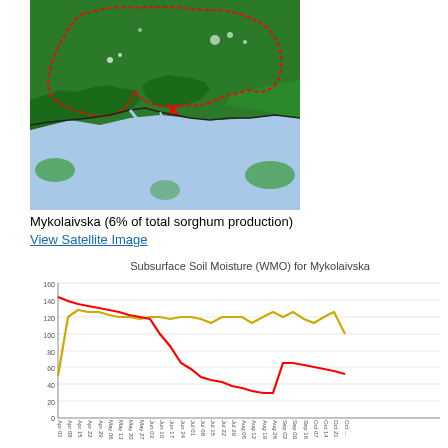[Figure (map): Satellite/land cover map of Mykolaivska region in Ukraine, showing green agricultural areas with a red dashed border outlining the oblast, and a light blue water body (Black Sea) in the lower portion.]
Mykolaivska (6% of total sorghum production)
View Satellite Image
[Figure (line-chart): Subsurface Soil Moisture (WMO) for Mykolaivska]